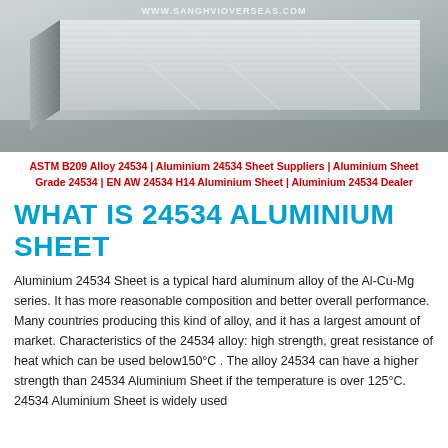[Figure (photo): Stack of aluminium 24534 sheets shown from an angle, light grey metallic color, with watermark text www.sanghvioverseas.com at the top]
ASTM B209 Alloy 24534 | Aluminium 24534 Sheet Suppliers | Aluminium Sheet Grade 24534 | EN AW 24534 H14 Aluminium Sheet | Aluminium 24534 Dealer
WHAT IS 24534 ALUMINIUM SHEET
Aluminium 24534 Sheet is a typical hard aluminum alloy of the Al-Cu-Mg series. It has more reasonable composition and better overall performance. Many countries producing this kind of alloy, and it has a largest amount of market. Characteristics of the 24534 alloy: high strength, great resistance of heat which can be used below150°C . The alloy 24534 can have a higher strength than 24534 Aluminium Sheet if the temperature is over 125°C. 24534 Aluminium Sheet is widely used